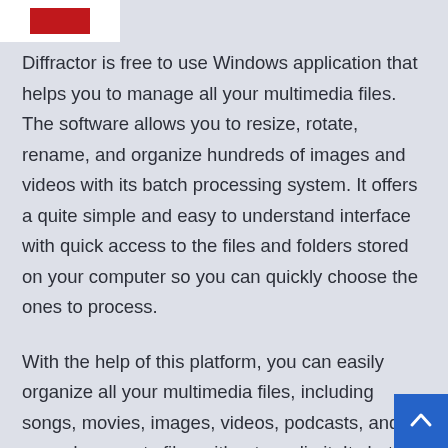[Figure (logo): Partial logo with white background and red element visible at top of page]
Diffractor is free to use Windows application that helps you to manage all your multimedia files. The software allows you to resize, rotate, rename, and organize hundreds of images and videos with its batch processing system. It offers a quite simple and easy to understand interface with quick access to the files and folders stored on your computer so you can quickly choose the ones to process.
With the help of this platform, you can easily organize all your multimedia files, including songs, movies, images, videos, podcasts, and even documents files without any limit. Its batch processing allows you